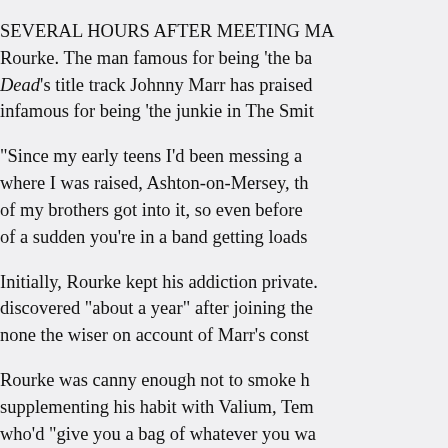SEVERAL HOURS AFTER MEETING MA Rourke. The man famous for being 'the ba Dead's title track Johnny Marr has praised infamous for being 'the junkie in The Smit
"Since my early teens I'd been messing a where I was raised, Ashton-on-Mersey, th of my brothers got into it, so even before of a sudden you're in a band getting loads
Initially, Rourke kept his addiction private. discovered "about a year" after joining the none the wiser on account of Marr's const
Rourke was canny enough not to smoke h supplementing his habit with Valium, Tem who'd "give you a bag of whatever you wa common tour bus knowledge, with even th knocking on his hotel room door asking fo
"Unfortunately," he continues, "the thing a to anyway. Then before you know it you're all came to a head in Ireland."
With The Queen Is Dead still on ice until t